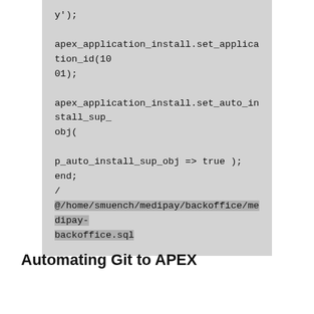y');

apex_application_install.set_application_id(1001);

apex_application_install.set_auto_install_sup_obj(

p_auto_install_sup_obj => true );
end;
/
@/home/smuench/medipay/backoffice/medipay-backoffice.sql
Automating Git to APEX